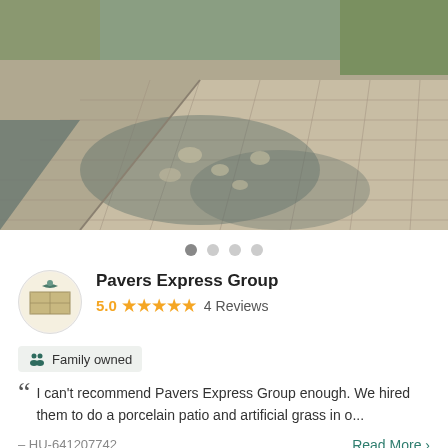[Figure (photo): Aerial/perspective photo of a brick/stone paver pathway or patio with tree shadow cast across it, surrounded by dirt and dry grass]
● ○ ○ ○ (carousel navigation dots)
Pavers Express Group
5.0 ★★★★★ 4 Reviews
Family owned
I can't recommend Pavers Express Group enough. We hired them to do a porcelain patio and artificial grass in o...
– HU-641207742
Read More >